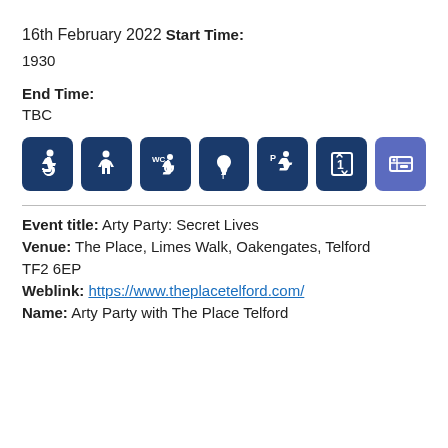16th February 2022
Start Time:
1930
End Time:
TBC
[Figure (infographic): Row of 7 accessibility/facility icons on dark blue rounded square backgrounds: wheelchair accessible, assistance available, accessible WC, induction loop/hearing impaired, disabled parking, accessible lift, and one lighter blue icon (ticket/seating).]
Event title: Arty Party: Secret Lives
Venue: The Place, Limes Walk, Oakengates, Telford TF2 6EP
Weblink: https://www.theplacetelford.com/
Name: Arty Party with The Place Telford